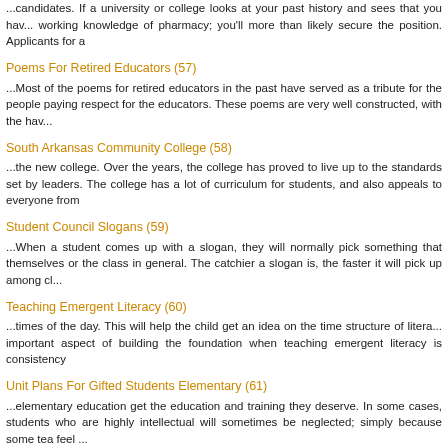...candidates. If a university or college looks at your past history and sees that you have a working knowledge of pharmacy; you'll more than likely secure the position. Applicants for a
Poems For Retired Educators (57)
...Most of the poems for retired educators in the past have served as a tribute for the people paying respect for the educators. These poems are very well constructed, with the hav...
South Arkansas Community College (58)
...the new college. Over the years, the college has proved to live up to the standards set by leaders. The college has a lot of curriculum for students, and also appeals to everyone from
Student Council Slogans (59)
...When a student comes up with a slogan, they will normally pick something that themselves or the class in general. The catchier a slogan is, the faster it will pick up among cl...
Teaching Emergent Literacy (60)
...times of the day. This will help the child get an idea on the time structure of literacy. important aspect of building the foundation when teaching emergent literacy is consistency
Unit Plans For Gifted Students Elementary (61)
...elementary education get the education and training they deserve. In some cases, students who are highly intellectual will sometimes be neglected; simply because some teachers feel ...
University Of Minnesota (62)
...public universities in the United States; ranking among the most prestigious. The university strong tradition of public and education service, and is also the state's primary research uni